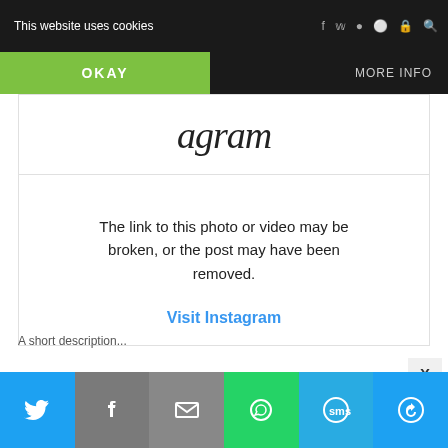This website uses cookies
OKAY
MORE INFO
[Figure (screenshot): Instagram logo partial view at top of embedded content area]
The link to this photo or video may be broken, or the post may have been removed.
Visit Instagram
[Figure (screenshot): Bottom share bar with Twitter, Facebook, Email, WhatsApp, SMS, and More buttons]